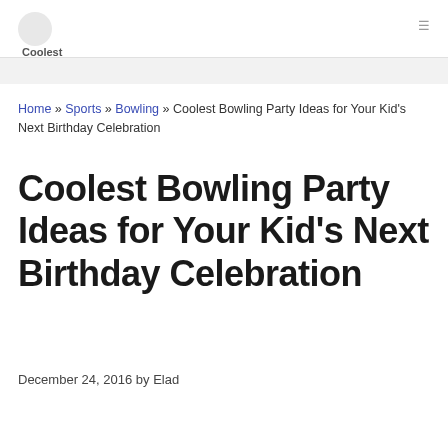Coolest Birthday Ideas
Home » Sports » Bowling » Coolest Bowling Party Ideas for Your Kid's Next Birthday Celebration
Coolest Bowling Party Ideas for Your Kid's Next Birthday Celebration
December 24, 2016 by Elad